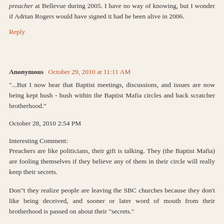preacher at Bellevue during 2005. I have no way of knowing, but I wonder if Adrian Rogers would have signed it had he been alive in 2006.
Reply
Anonymous October 29, 2010 at 11:11 AM
"...But I now hear that Baptist meetings, discussions, and issues are now being kept hush - hush within the Baptist Mafia circles and back scratcher brotherhood."
October 28, 2010 2:54 PM
Interesting Comment:
Preachers are like politicians, their gift is talking. They (the Baptist Mafia) are fooling themselves if they believe any of them in their circle will really keep their secrets.
Don"t they realize people are leaving the SBC churches because they don't like being deceived, and sooner or later word of mouth from their brotherhood is passed on about their "secrets."